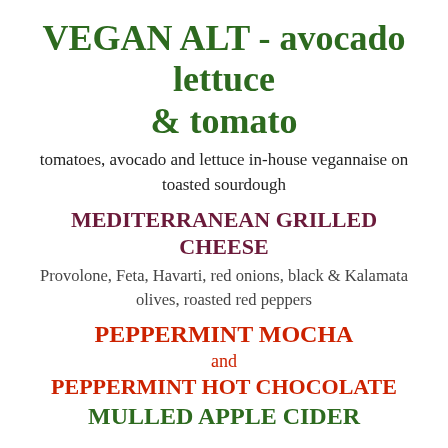VEGAN ALT - avocado lettuce & tomato
tomatoes, avocado and lettuce in-house vegannaise on toasted sourdough
MEDITERRANEAN GRILLED CHEESE
Provolone, Feta, Havarti, red onions, black & Kalamata olives, roasted red peppers
PEPPERMINT MOCHA
and
PEPPERMINT HOT CHOCOLATE
MULLED APPLE CIDER